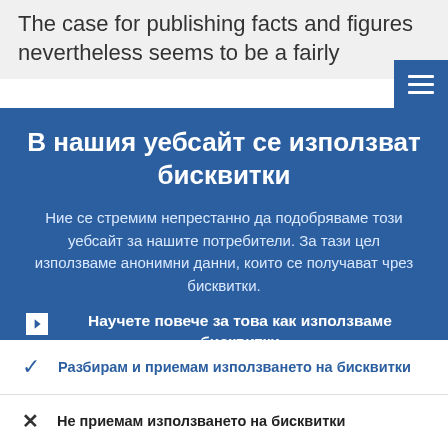The case for publishing facts and figures nevertheless seems to be a fairly
В нашия уебсайт се използват бисквитки
Ние се стремим непрестанно да подобряваме този уебсайт за нашите потребители. За тази цел използваме анонимни данни, които се получават чрез бисквитки.
Научете повече за това как използваме бисквитки
Разбирам и приемам използването на бисквитки
Не приемам използването на бисквитки